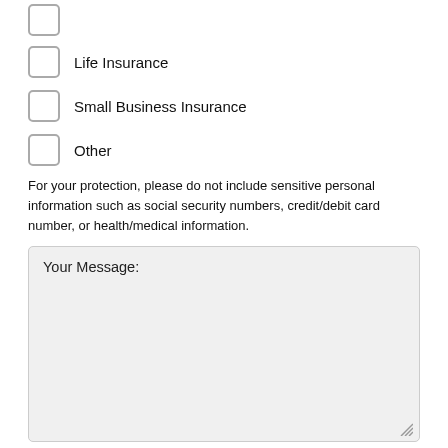(checkbox — unlabeled, top)
Life Insurance
Small Business Insurance
Other
For your protection, please do not include sensitive personal information such as social security numbers, credit/debit card number, or health/medical information.
Your Message:
Add Attachments (25.0 MB max)